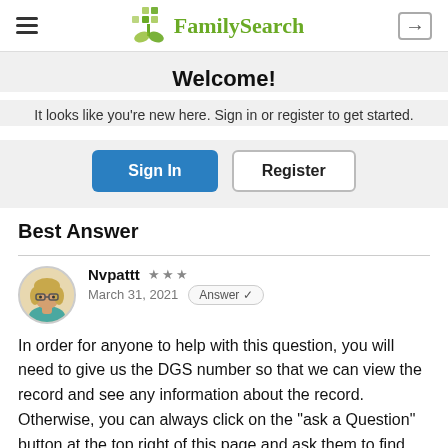FamilySearch
Welcome!
It looks like you're new here. Sign in or register to get started.
Best Answer
Nvpattt ★★★ March 31, 2021 Answer ✓
In order for anyone to help with this question, you will need to give us the DGS number so that we can view the record and see any information about the record. Otherwise, you can always click on the "ask a Question" button at the top right of this page and ask them to find the answer for you.